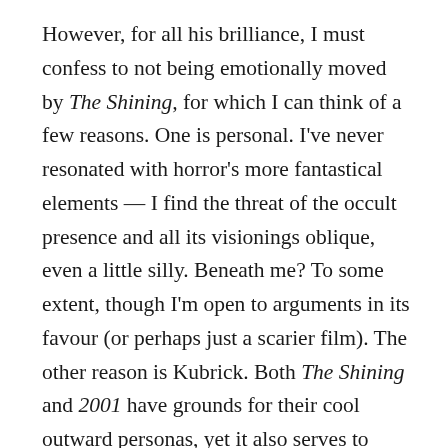However, for all his brilliance, I must confess to not being emotionally moved by The Shining, for which I can think of a few reasons. One is personal. I've never resonated with horror's more fantastical elements — I find the threat of the occult presence and all its visionings oblique, even a little silly. Beneath me? To some extent, though I'm open to arguments in its favour (or perhaps just a scarier film). The other reason is Kubrick. Both The Shining and 2001 have grounds for their cool outward personas, yet it also serves to shield them from warmer scrutiny, and I wonder whether his clinical methodology kept me detached from the drama. If that sounds a little undecided, allow me to bring you home with a straightforward certainty. Scary